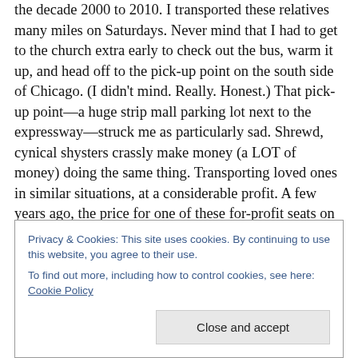the decade 2000 to 2010. I transported these relatives many miles on Saturdays. Never mind that I had to get to the church extra early to check out the bus, warm it up, and head off to the pick-up point on the south side of Chicago. (I didn't mind. Really. Honest.) That pick-up point—a huge strip mall parking lot next to the expressway—struck me as particularly sad. Shrewd, cynical shysters crassly make money (a LOT of money) doing the same thing. Transporting loved ones in similar situations, at a considerable profit. A few years ago, the price for one of these for-profit seats on the commercial buses lined up at
Privacy & Cookies: This site uses cookies. By continuing to use this website, you agree to their use.
To find out more, including how to control cookies, see here: Cookie Policy